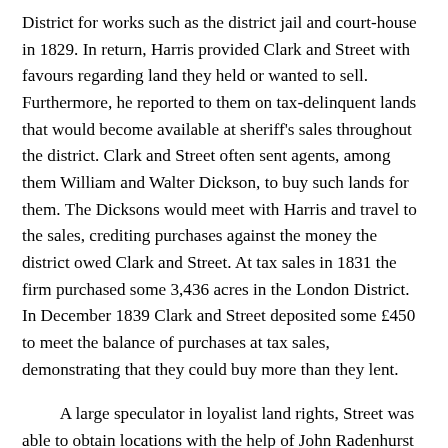District for works such as the district jail and court-house in 1829. In return, Harris provided Clark and Street with favours regarding land they held or wanted to sell. Furthermore, he reported to them on tax-delinquent lands that would become available at sheriff's sales throughout the district. Clark and Street often sent agents, among them William and Walter Dickson, to buy such lands for them. The Dicksons would meet with Harris and travel to the sales, crediting purchases against the money the district owed Clark and Street. At tax sales in 1831 the firm purchased some 3,436 acres in the London District. In December 1839 Clark and Street deposited some £450 to meet the balance of purchases at tax sales, demonstrating that they could buy more than they lent.
A large speculator in loyalist land rights, Street was able to obtain locations with the help of John Radenhurst and Joseph Bitterman Spragge, clerks in the Surveyor General's Office. Both men were accused of suspicious practices involving the location and patenting of loyalist lands. Coincidentally Spragge was